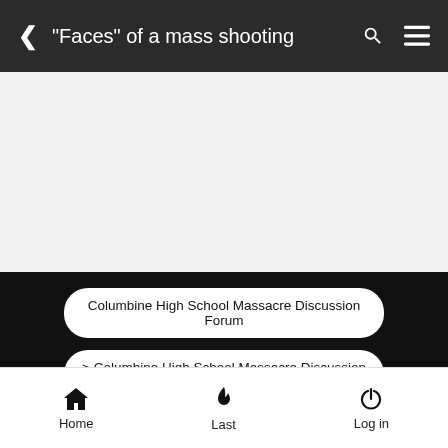"Faces" of a mass shooting
[Figure (other): Gray advertisement placeholder area]
Columbine High School Massacre Discussion Forum
> Columbine High School Massacre Discussion Forum
> Thoughts on the Shooting
"Faces" of a mass shooting
Home  Last  Log in